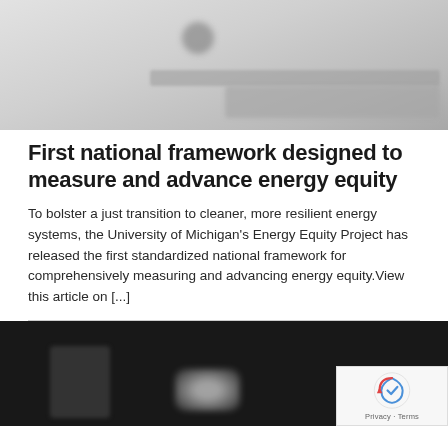[Figure (photo): Blurred/faded background image, light grey tones, with some blurred text/interface elements in the lower right area]
First national framework designed to measure and advance energy equity
To bolster a just transition to cleaner, more resilient energy systems, the University of Michigan's Energy Equity Project has released the first standardized national framework for comprehensively measuring and advancing energy equity.View this article on [...]
[Figure (photo): Dark/black background image with a person or figure and a glowing white diamond-like shape in the center]